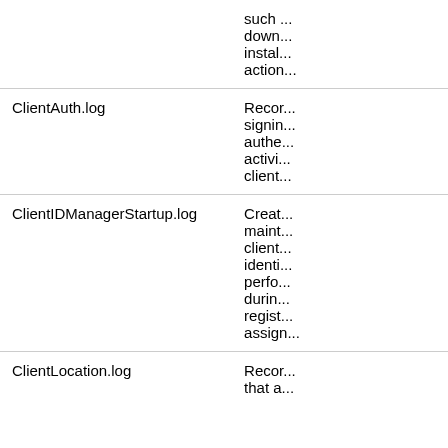| Log File | Description |
| --- | --- |
|  | such ...
down...
instal...
action... |
| ClientAuth.log | Recor...
signin...
authe...
activi...
client... |
| ClientIDManagerStartup.log | Creat...
maint...
client...
identi...
perfo...
durin...
regist...
assign... |
| ClientLocation.log | Recor...
that a... |